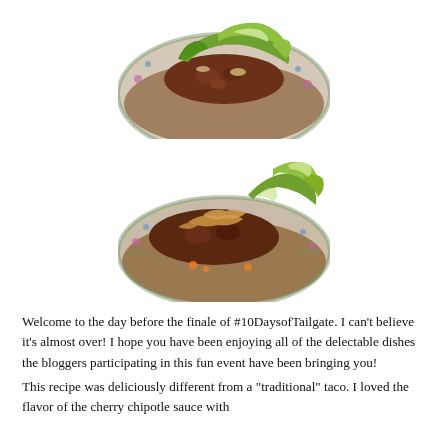[Figure (photo): Close-up photo of a taco on a decorative plate with floral pattern, topped with seasoned meat and green lettuce leaves]
[Figure (photo): Close-up photo of a taco on a decorative plate with floral pattern, topped with caramelized onions and green lettuce]
Welcome to the day before the finale of #10DaysofTailgate. I can't believe it's almost over! I hope you have been enjoying all of the delectable dishes the bloggers participating in this fun event have been bringing you!
This recipe was deliciously different from a "traditional" taco. I loved the flavor of the cherry chipotle sauce with